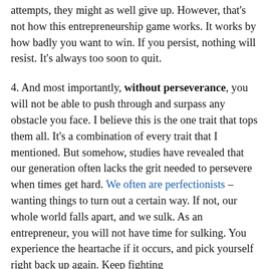attempts, they might as well give up. However, that's not how this entrepreneurship game works. It works by how badly you want to win. If you persist, nothing will resist. It's always too soon to quit.
4. And most importantly, without perseverance, you will not be able to push through and surpass any obstacle you face. I believe this is the one trait that tops them all. It's a combination of every trait that I mentioned. But somehow, studies have revealed that our generation often lacks the grit needed to persevere when times get hard. We often are perfectionists – wanting things to turn out a certain way. If not, our whole world falls apart, and we sulk. As an entrepreneur, you will not have time for sulking. You experience the heartache if it occurs, and pick yourself right back up again. Keep fighting